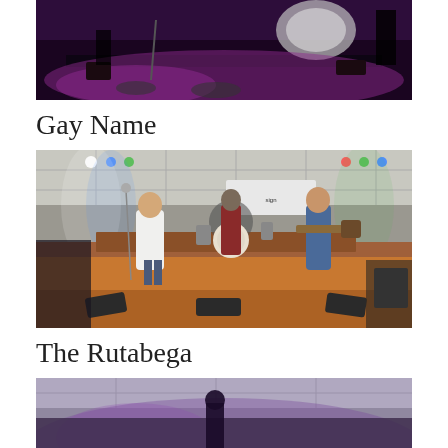[Figure (photo): Concert stage photo with purple/magenta lighting, drum kit visible on stage, dark venue, partially cropped at top of page]
Gay Name
[Figure (photo): Band performing on stage in a lit indoor venue with ceiling tiles, singer with microphone, guitarist, drummer, and bass player visible, stage lighting with colored lights]
The Rutabega
[Figure (photo): Band performing in a dark venue with purple/pink ambient lighting, partially visible at bottom of page]